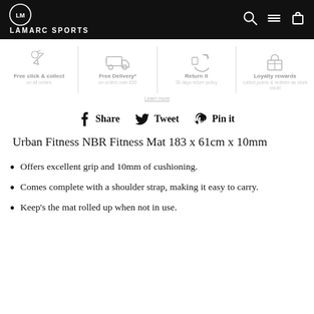LAMARC SPORTS
[Figure (infographic): Four feature icons: Free click & collect on all orders, Free Delivery* on orders over £50, Return it 30 days return policy, Loyalty rewards collect points & redeem as store credit]
Share  Tweet  Pin it
Urban Fitness NBR Fitness Mat 183 x 61cm x 10mm
Offers excellent grip and 10mm of cushioning.
Comes complete with a shoulder strap, making it easy to carry.
Keep's the mat rolled up when not in use.